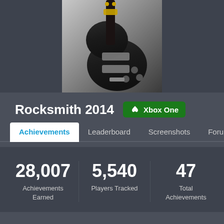[Figure (photo): Electric guitar (black Les Paul style) on a gray gradient background, partially cropped at top]
Rocksmith 2014
Xbox One
Achievements | Leaderboard | Screenshots | Forum
28,007 Achievements Earned
5,540 Players Tracked
47 Total Achievements